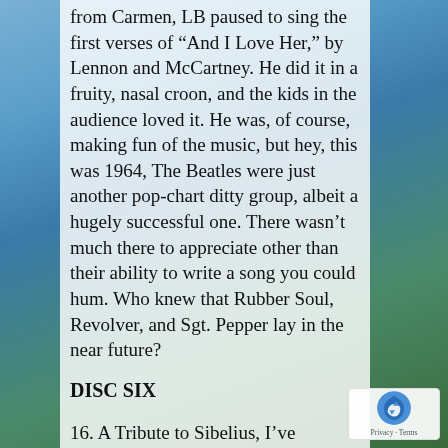from Carmen, LB paused to sing the first verses of “And I Love Her,” by Lennon and McCartney. He did it in a fruity, nasal croon, and the kids in the audience loved it. He was, of course, making fun of the music, but hey, this was 1964, The Beatles were just another pop-chart ditty group, albeit a hugely successful one. There wasn’t much there to appreciate other than their ability to write a song you could hum. Who knew that Rubber Soul, Revolver, and Sgt. Pepper lay in the near future?
DISC SIX
16. A Tribute to Sibelius, I’ve